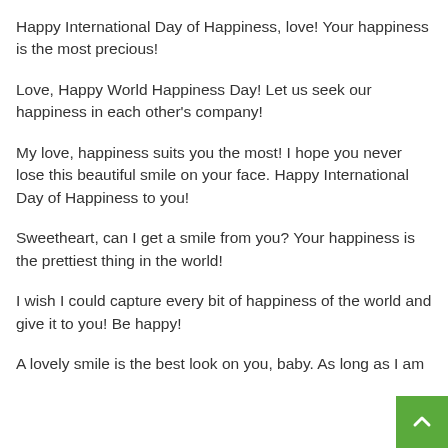Happy International Day of Happiness, love! Your happiness is the most precious!
Love, Happy World Happiness Day! Let us seek our happiness in each other's company!
My love, happiness suits you the most! I hope you never lose this beautiful smile on your face. Happy International Day of Happiness to you!
Sweetheart, can I get a smile from you? Your happiness is the prettiest thing in the world!
I wish I could capture every bit of happiness of the world and give it to you! Be happy!
A lovely smile is the best look on you, baby. As long as I am